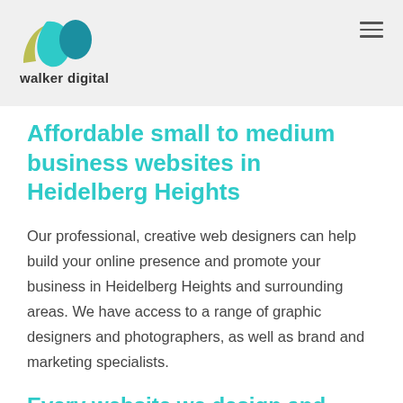[Figure (logo): Walker Digital logo with teal, olive and dark teal leaf/wing shapes, above text 'walker digital']
Affordable small to medium business websites in Heidelberg Heights
Our professional, creative web designers can help build your online presence and promote your business in Heidelberg Heights and surrounding areas. We have access to a range of graphic designers and photographers, as well as brand and marketing specialists.
Every website we design and build includes: